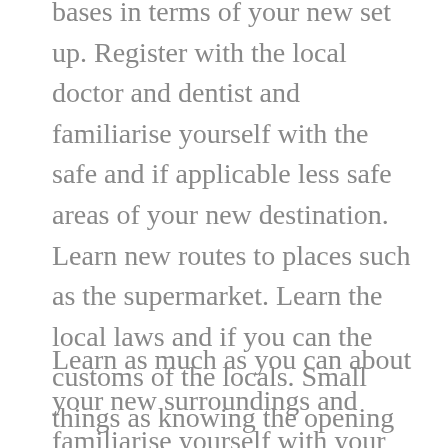bases in terms of your new set up. Register with the local doctor and dentist and familiarise yourself with the safe and if applicable less safe areas of your new destination. Learn new routes to places such as the supermarket. Learn the local laws and if you can the customs of the locals. Small things as knowing the opening times of your new supermarket can make you feel more in control and help you with regards to coping with culture shock.
Learn as much as you can about your new surroundings and familiarise yourself with your local area as much as possible.